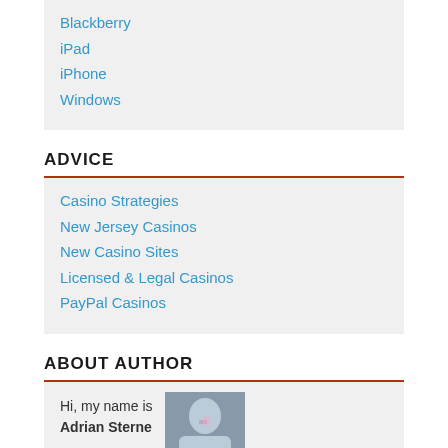Blackberry
iPad
iPhone
Windows
ADVICE
Casino Strategies
New Jersey Casinos
New Casino Sites
Licensed & Legal Casinos
PayPal Casinos
ABOUT AUTHOR
Hi, my name is Adrian Sterne